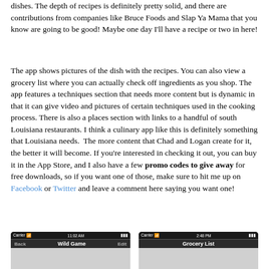dishes.  The depth of recipes is definitely pretty solid, and there are contributions from companies like Bruce Foods and Slap Ya Mama that you know are going to be good!  Maybe one day I'll have a recipe or two in here!
The app shows pictures of the dish with the recipes.  You can also view a grocery list where you can actually check off ingredients as you shop.  The app features a techniques section that needs more content but is dynamic in that it can give video and pictures of certain techniques used in the cooking process.  There is also a places section with links to a handful of south Louisiana restaurants.  I think a culinary app like this is definitely something that Louisiana needs.  The more content that Chad and Logan create for it, the better it will become.  If you're interested in checking it out, you can buy it in the App Store, and I also have a few promo codes to give away for free downloads, so if you want one of those, make sure to hit me up on Facebook or Twitter and leave a comment here saying you want one!
[Figure (screenshot): Two iPhone screenshots side by side showing app screens: left shows 'Wild Game' screen at 11:02 AM, right shows 'Grocery List' screen at 2:48 PM]